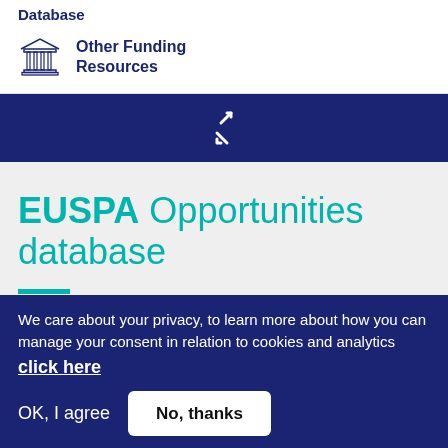Database
Other Funding Resources
[Figure (other): Compress/collapse icon (two diagonal arrows pointing inward) on dark blue background bar]
EUSPA Opportunities database
Use the search criteria on your left to filter records, and
We care about your privacy, to learn more about how you can manage your consent in relation to cookies and analytics click here
OK, I agree   No, thanks